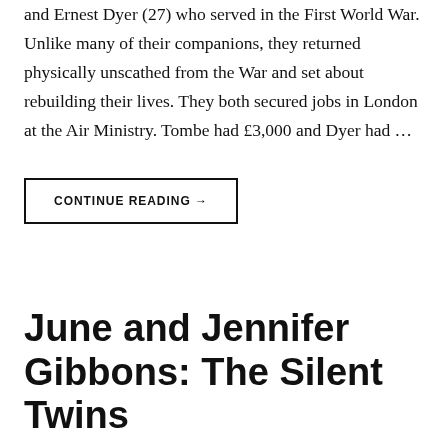and Ernest Dyer (27) who served in the First World War. Unlike many of their companions, they returned physically unscathed from the War and set about rebuilding their lives. They both secured jobs in London at the Air Ministry. Tombe had £3,000 and Dyer had …
CONTINUE READING →
June and Jennifer Gibbons: The Silent Twins